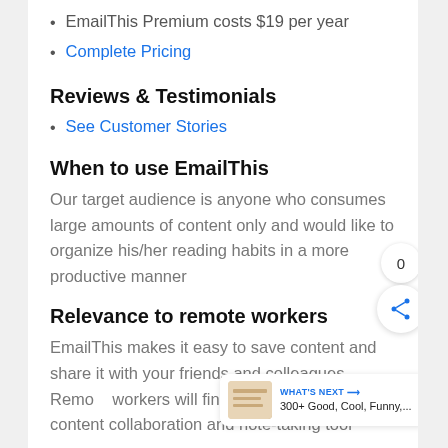EmailThis Premium costs $19 per year
Complete Pricing
Reviews & Testimonials
See Customer Stories
When to use EmailThis
Our target audience is anyone who consumes large amounts of content only and would like to organize his/her reading habits in a more productive manner
Relevance to remote workers
EmailThis makes it easy to save content and share it with your friends and colleagues. Remote workers will find EmailThis useful as a content collaboration and note-taking tool
See Alternatives to EmailThis →